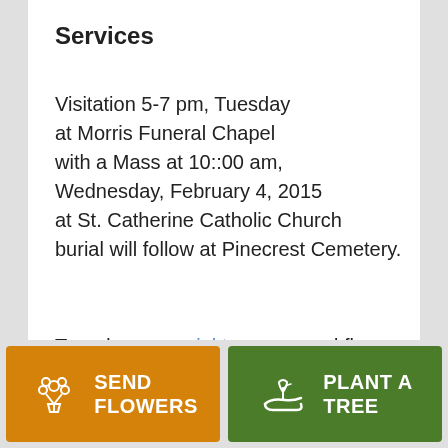Services
Visitation 5-7 pm, Tuesday at Morris Funeral Chapel with a Mass at 10::00 am, Wednesday, February 4, 2015 at St. Catherine Catholic Church burial will follow at Pinecrest Cemetery.
To order memorial trees or send flowers to the family in memory of George V. Huter, please visit our flower store.
SEND FLOWERS
PLANT A TREE